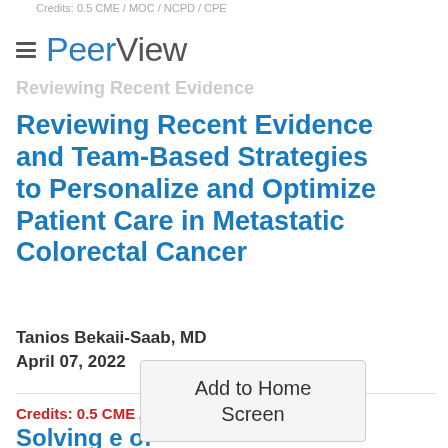Credits: 0.5 CME / MOC / NCPD / CPE
PeerView
Reviewing Recent Evidence
Reviewing Recent Evidence and Team-Based Strategies to Personalize and Optimize Patient Care in Metastatic Colorectal Cancer
Tanios Bekaii-Saab, MD
April 07, 2022
Credits: 0.5 CME / MOC / NCPD
Solving ... of Tumor...
Add to Home Screen